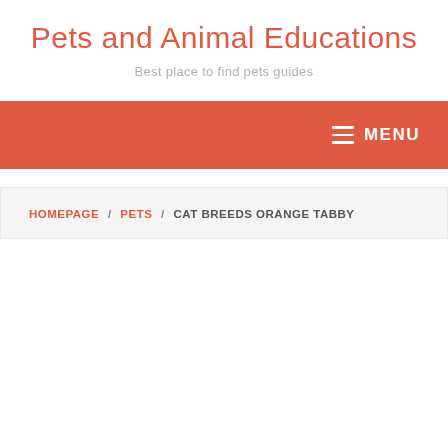Pets and Animal Educations
Best place to find pets guides
MENU
HOMEPAGE / PETS / CAT BREEDS ORANGE TABBY